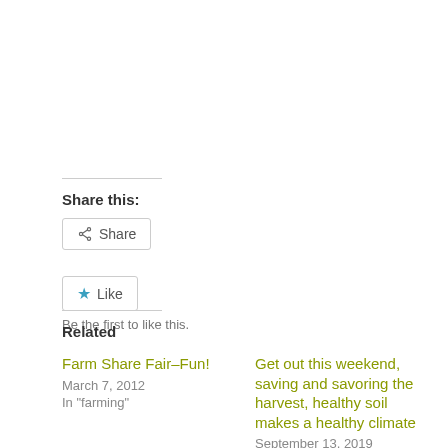Share this:
Share
Like
Be the first to like this.
Related
Farm Share Fair–Fun!
March 7, 2012
In "farming"
Get out this weekend, saving and savoring the harvest, healthy soil makes a healthy climate
September 13, 2019
In "farming"